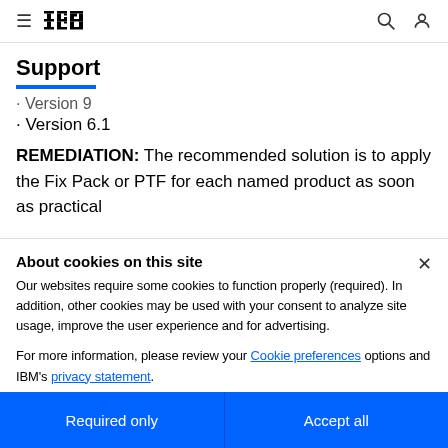IBM Support
· Version 9 (partially visible)
· Version 6.1
REMEDIATION: The recommended solution is to apply the Fix Pack or PTF for each named product as soon as practical
About cookies on this site
Our websites require some cookies to function properly (required). In addition, other cookies may be used with your consent to analyze site usage, improve the user experience and for advertising.
For more information, please review your Cookie preferences options and IBM's privacy statement.
Required only
Accept all